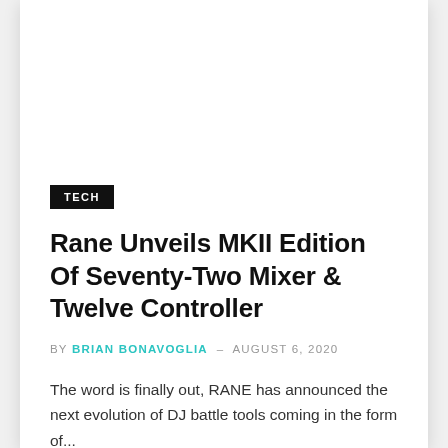[Figure (photo): White image placeholder area at the top of the card]
TECH
Rane Unveils MKII Edition Of Seventy-Two Mixer & Twelve Controller
BY BRIAN BONAVOGLIA - AUGUST 6, 2020
The word is finally out, RANE has announced the next evolution of DJ battle tools coming in the form of...
Read More